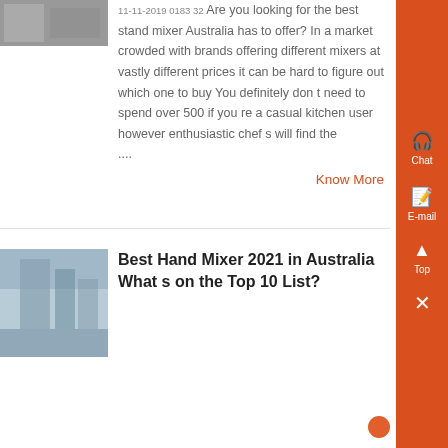[Figure (photo): Top article thumbnail image showing industrial equipment]
11-11-2019 0183 32 Are you looking for the best stand mixer Australia has to offer? In a market crowded with brands offering different mixers at vastly different prices it can be hard to figure out which one to buy You definitely don t need to spend over 500 if you re a casual kitchen user however enthusiastic chef s will find the ....
Know More
[Figure (photo): Bottom article thumbnail image showing industrial equipment or building]
Best Hand Mixer 2021 in Australia What s on the Top 10 List?